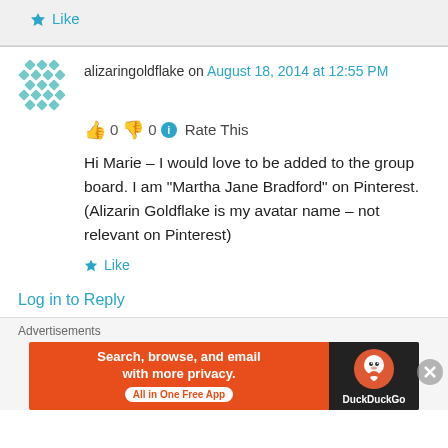Like
alizaringoldflake on August 18, 2014 at 12:55 PM
👍 0 👎 0 ℹ Rate This
Hi Marie – I would love to be added to the group board. I am "Martha Jane Bradford" on Pinterest. (Alizarin Goldflake is my avatar name – not relevant on Pinterest)
Like
Log in to Reply
Advertisements
[Figure (infographic): DuckDuckGo advertisement banner: orange background with text 'Search, browse, and email with more privacy.' and 'All in One Free App', with DuckDuckGo logo on dark background on the right side.]